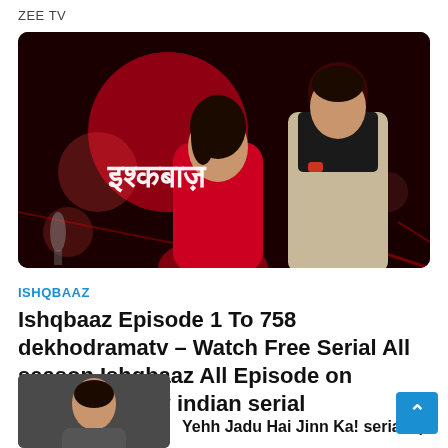ZEE TV
[Figure (photo): Promotional image for the Indian TV serial Ishqbaaz showing a woman in a red dress and a man in a beige suit, with the Hindi title 'इश्कबाज़' displayed on a red bokeh background.]
ISHQBAAZ
Ishqbaaz Episode 1 To 758 dekhodramatv – Watch Free Serial All season Ishqbaaz All Episode on Dekhodramatv indian serial
[Figure (photo): Thumbnail image at bottom left showing a partial view of a person.]
Yehh Jadu Hai Jinn Ka! serials |